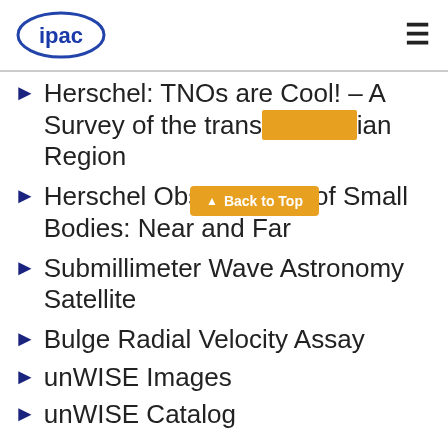ipac [logo] [hamburger menu]
Herschel: TNOs are Cool! – A Survey of the transneptunian Region
Herschel Observations of Small Bodies: Near and Far
Submillimeter Wave Astronomy Satellite
Bulge Radial Velocity Assay
unWISE Images
unWISE Catalog